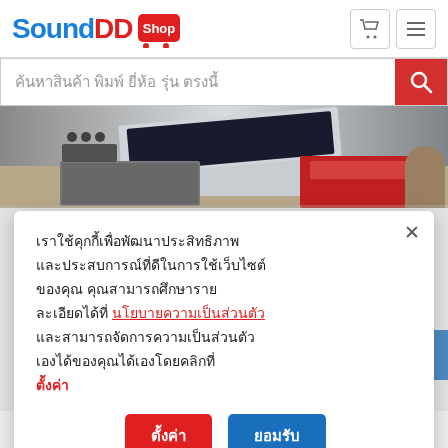SoundDD.Shop
ค้นหาสินค้า พิมพ์ ยี่ห้อ รุ่น ตรงนี้
[Figure (photo): Photo of audio equipment including laptop, audio interface, mixer, keyboard on a desk]
เราใช้คุกกี้เพื่อพัฒนาประสิทธิภาพ และประสบการณ์ที่ดีในการใช้เว็บไซต์ ของคุณ คุณสามารถศึกษารายละเอียดได้ที่ นโยบายความเป็นส่วนตัว และสามารถจัดการความเป็นส่วนตัวเองได้ของคุณได้เองโดยคลิกที่ ตั้งค่า
ตั้งค่า    ยอมรับ
own oscillator shapes and preview